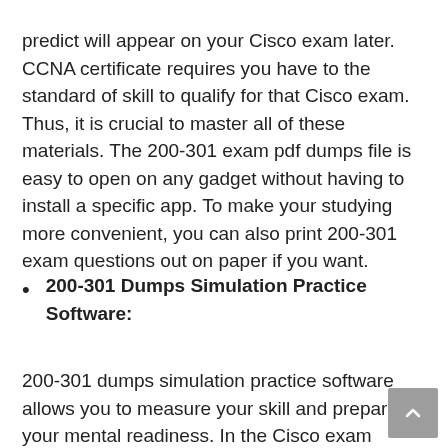predict will appear on your Cisco exam later. CCNA certificate requires you have to the standard of skill to qualify for that Cisco exam. Thus, it is crucial to master all of these materials. The 200-301 exam pdf dumps file is easy to open on any gadget without having to install a specific app. To make your studying more convenient, you can also print 200-301 exam questions out on paper if you want.
200-301 Dumps Simulation Practice Software:
200-301 dumps simulation practice software allows you to measure your skill and prepare your mental readiness. In the Cisco exam package, this process comes in the form of software. For a more effective result, we have developed this 200-301 dumps simulation